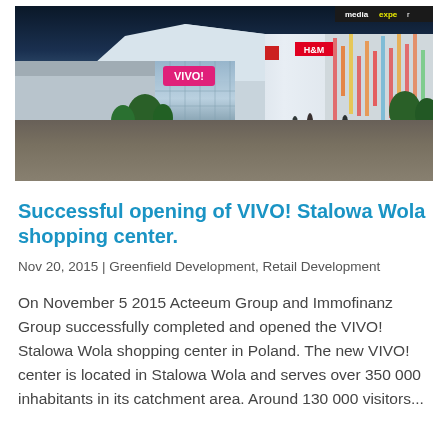[Figure (photo): Exterior rendering of VIVO! Stalowa Wola shopping center at dusk, showing modern angular architecture with glass facade and illuminated building. Visible store signs include VIVO!, intermarche, H&M, and mediaexpert.]
Successful opening of VIVO! Stalowa Wola shopping center.
Nov 20, 2015 | Greenfield Development, Retail Development
On November 5 2015 Acteeum Group and Immofinanz Group successfully completed and opened the VIVO! Stalowa Wola shopping center in Poland. The new VIVO! center is located in Stalowa Wola and serves over 350 000 inhabitants in its catchment area. Around 130 000 visitors...